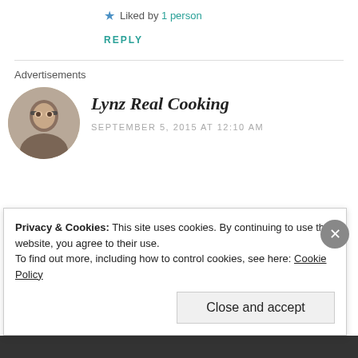★ Liked by 1 person
REPLY
Advertisements
Lynz Real Cooking
SEPTEMBER 5, 2015 AT 12:10 AM
Privacy & Cookies: This site uses cookies. By continuing to use this website, you agree to their use.
To find out more, including how to control cookies, see here: Cookie Policy
Close and accept